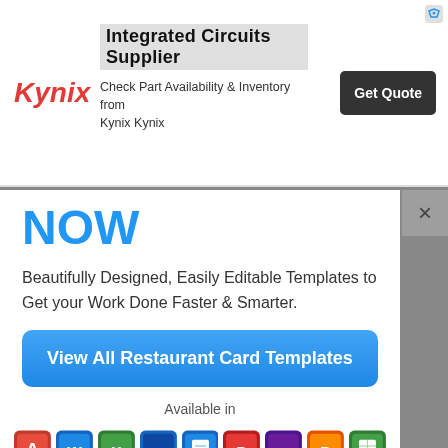[Figure (logo): Kynix logo with red stylized text]
Integrated Circuits Supplier
Check Part Availability & Inventory from Kynix Kynix
Get Quote
NOW
Beautifully Designed, Easily Editable Templates to Get your Work Done Faster & Smarter.
View All Restaurant Card Templates
Available in
[Figure (illustration): Row of application software icons: Adobe Acrobat, Microsoft Word, Microsoft Excel, Adobe Photoshop, Google Docs, Microsoft PowerPoint, Adobe InDesign, Apple Pages, Google Sheets, Microsoft Publisher, Apple Numbers, Adobe Illustrator, Apple Keynote, Google Slides, HTML5]